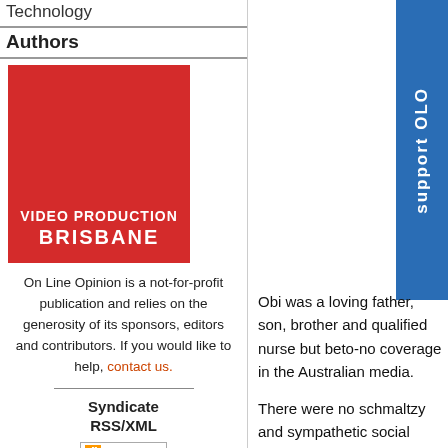Technology
Authors
[Figure (logo): Red box with white text reading VIDEO PRODUCTION BRISBANE]
On Line Opinion is a not-for-profit publication and relies on the generosity of its sponsors, editors and contributors. If you would like to help, contact us.
Syndicate RSS/XML
[Figure (logo): RSS 2.0 badge]
[Figure (screenshot): Blue vertical banner on right side with text Support OLO]
Obi was a loving father, son, brother and qualified nurse but be... to-no coverage in the Australian media.
There were no schmaltzy and sympathetic social media posts... umpteen vigils being held by large crowds of people around th...
If you plan on being murdered or raped in 'this land of sweepin... a vagina, otherwise you're pretty well screwed.
Forget the fact that approximately two-thirds of homicide victim... perpetrators and I think it's about time we changed the narrativ...